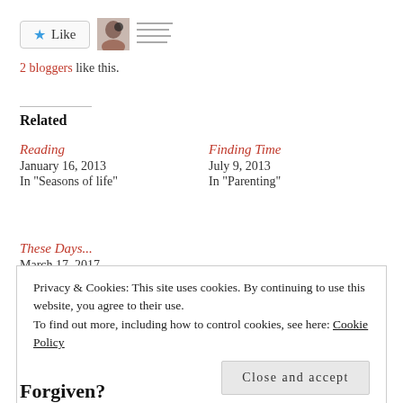[Figure (other): Like button with blue star and 'Like' text, followed by a small avatar photo and lines of text]
2 bloggers like this.
Related
Reading
January 16, 2013
In "Seasons of life"
Finding Time
July 9, 2013
In "Parenting"
These Days...
March 17, 2017
In "Seasons of life"
Privacy & Cookies: This site uses cookies. By continuing to use this website, you agree to their use.
To find out more, including how to control cookies, see here: Cookie Policy
Close and accept
Forgiven?